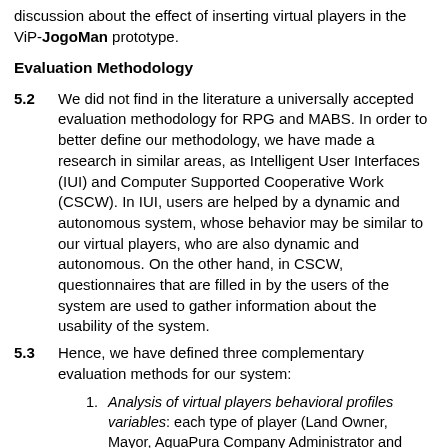discussion about the effect of inserting virtual players in the ViP-JogoMan prototype.
Evaluation Methodology
5.2  We did not find in the literature a universally accepted evaluation methodology for RPG and MABS. In order to better define our methodology, we have made a research in similar areas, as Intelligent User Interfaces (IUI) and Computer Supported Cooperative Work (CSCW). In IUI, users are helped by a dynamic and autonomous system, whose behavior may be similar to our virtual players, who are also dynamic and autonomous. On the other hand, in CSCW, questionnaires that are filled in by the users of the system are used to gather information about the usability of the system.
5.3  Hence, we have defined three complementary evaluation methods for our system:
1. Analysis of virtual players behavioral profiles variables: each type of player (Land Owner, Mayor, AguaPura Company Administrator and Migrant Representative) has some specific